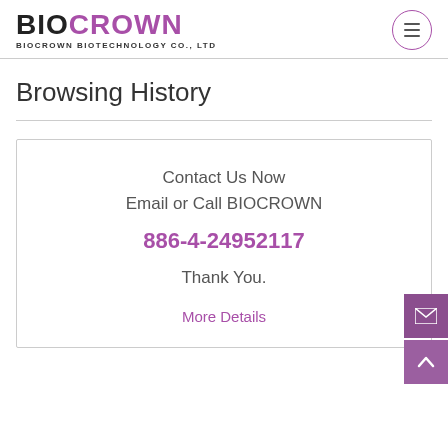[Figure (logo): BIOCROWN logo with text BIOCROWN BIOTECHNOLOGY CO., LTD and hamburger menu icon in circle]
Browsing History
Contact Us Now
Email or Call BIOCROWN
886-4-24952117
Thank You.
More Details